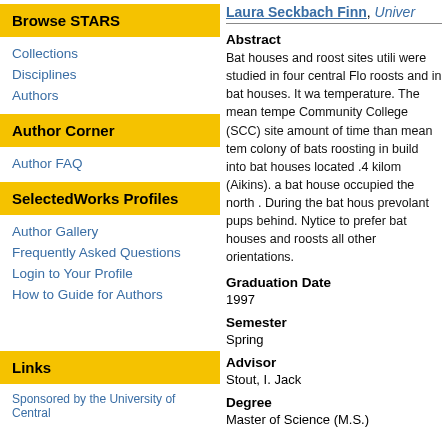Browse STARS
Collections
Disciplines
Authors
Author Corner
Author FAQ
SelectedWorks Profiles
Author Gallery
Frequently Asked Questions
Login to Your Profile
How to Guide for Authors
Links
Laura Seckbach Finn, Univer
Abstract
Bat houses and roost sites utili were studied in four central Flo roosts and in bat houses. It wa temperature. The mean tempe Community College (SCC) site amount of time than mean tem colony of bats roosting in build into bat houses located .4 kilom (Aikins). a bat house occupied the north . During the bat hous prevolant pups behind. Nytice to prefer bat houses and roosts all other orientations.
Graduation Date
1997
Semester
Spring
Advisor
Stout, I. Jack
Degree
Master of Science (M.S.)